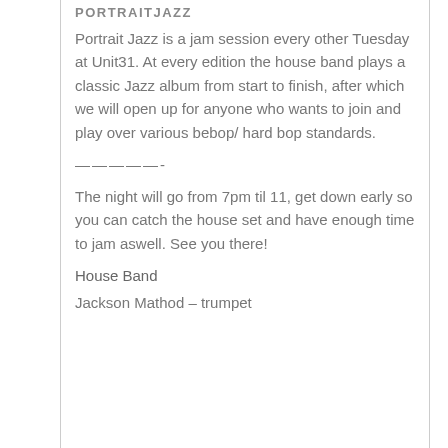PORTRAITJAZZ
Portrait Jazz is a jam session every other Tuesday at Unit31. At every edition the house band plays a classic Jazz album from start to finish, after which we will open up for anyone who wants to join and play over various bebop/ hard bop standards.
—————-
The night will go from 7pm til 11, get down early so you can catch the house set and have enough time to jam aswell. See you there!
House Band
Jackson Mathod – trumpet